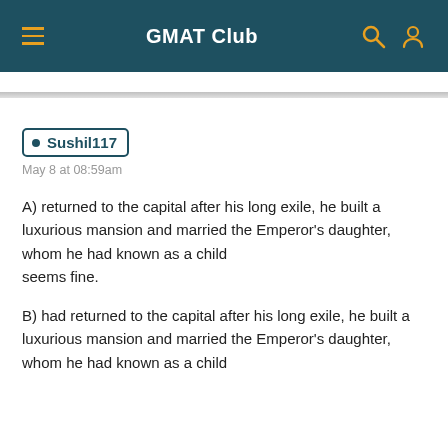GMAT Club
Sushil117
May 8 at 08:59am
A) returned to the capital after his long exile, he built a luxurious mansion and married the Emperor's daughter, whom he had known as a child
seems fine.
B) had returned to the capital after his long exile, he built a luxurious mansion and married the Emperor's daughter, whom he had known as a child